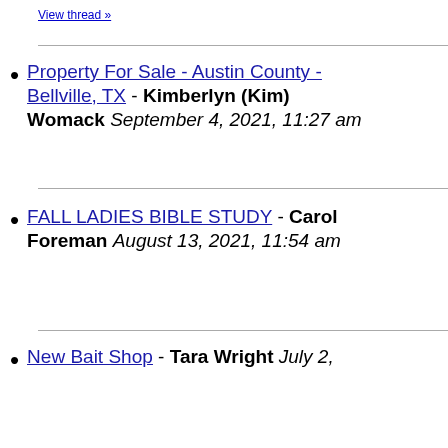View thread »
Property For Sale - Austin County - Bellville, TX - Kimberlyn (Kim) Womack September 4, 2021, 11:27 am
FALL LADIES BIBLE STUDY - Carol Foreman August 13, 2021, 11:54 am
New Bait Shop - Tara Wright July 2,